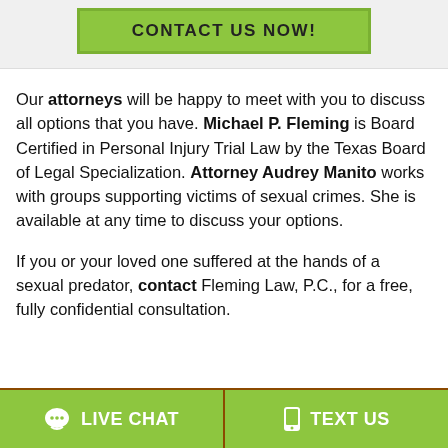[Figure (other): Green CONTACT US NOW! button with border]
Our attorneys will be happy to meet with you to discuss all options that you have. Michael P. Fleming is Board Certified in Personal Injury Trial Law by the Texas Board of Legal Specialization. Attorney Audrey Manito works with groups supporting victims of sexual crimes. She is available at any time to discuss your options.
If you or your loved one suffered at the hands of a sexual predator, contact Fleming Law, P.C., for a free, fully confidential consultation.
[Figure (other): Two green buttons at bottom: LIVE CHAT and TEXT US]